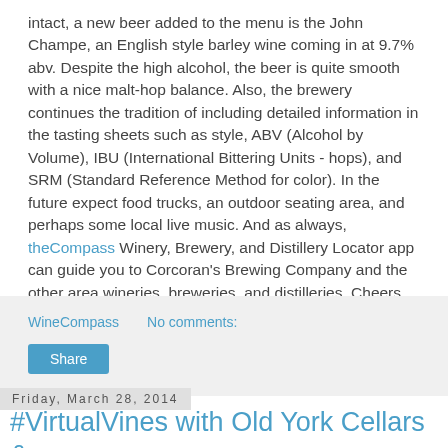intact, a new beer added to the menu is the John Champe, an English style barley wine coming in at 9.7% abv. Despite the high alcohol, the beer is quite smooth with a nice malt-hop balance. Also, the brewery continues the tradition of including detailed information in the tasting sheets such as style, ABV (Alcohol by Volume), IBU (International Bittering Units - hops), and SRM (Standard Reference Method for color). In the future expect food trucks, an outdoor seating area, and perhaps some local live music. And as always, theCompass Winery, Brewery, and Distillery Locator app can guide you to Corcoran's Brewing Company and the other area wineries, breweries, and distilleries. Cheers.
WineCompass   No comments:
Share
Friday, March 28, 2014
#VirtualVines with Old York Cellars & Laurie's Chocolates